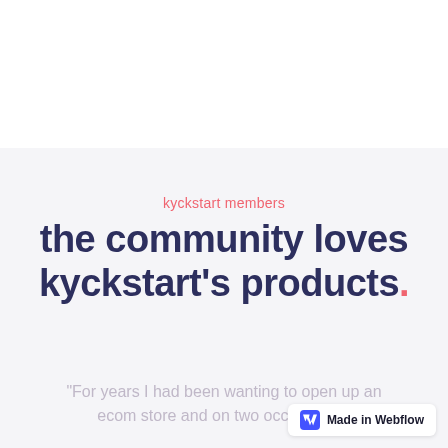kyckstart members
the community loves kyckstart's products.
"For years I had been wanting to open up an ecom store and on two occasions...